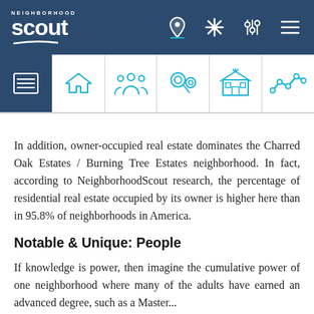Neighborhood Scout
In addition, owner-occupied real estate dominates the Charred Oak Estates / Burning Tree Estates neighborhood. In fact, according to NeighborhoodScout research, the percentage of residential real estate occupied by its owner is higher here than in 95.8% of neighborhoods in America.
Notable & Unique: People
If knowledge is power, then imagine the cumulative power of one neighborhood where many of the adults have earned an advanced degree, such as a Master...